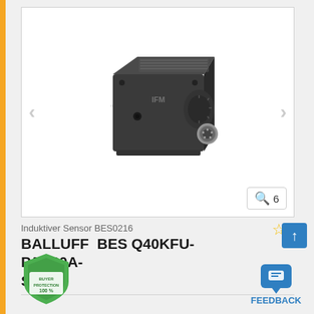[Figure (photo): Balluff BES Q40KFU-PAC20A-S04G inductive sensor - a dark grey/black square-shaped industrial proximity sensor with M12 connector on the side, shown with a carousel navigation interface. Zoom indicator shows 6 images available.]
Induktiver Sensor BES0216
BALLUFF  BES Q40KFU-PAC20A-S04G
[Figure (logo): Buyer Protection shield badge with text BUYER PROTECTION 100%]
FEEDBACK